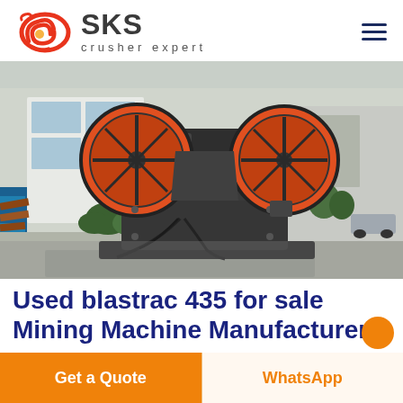[Figure (logo): SKS Crusher Expert logo with red swirl emblem on left and bold SKS text with 'crusher expert' tagline]
[Figure (photo): Large industrial jaw crusher machine photographed outdoors at a manufacturing facility, showing heavy black metal body with large red flywheel, hydraulic cables, and industrial background]
Used blastrac 435 for sale Mining Machine Manufacturers
Get a Quote
WhatsApp